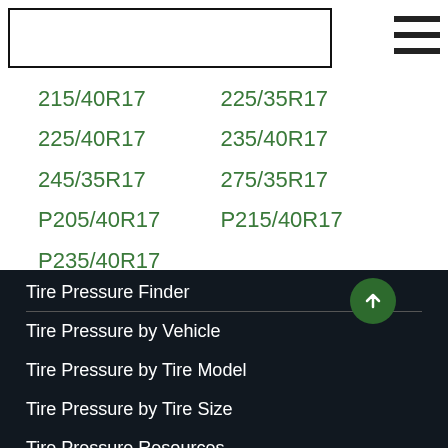[Figure (logo): Empty logo box with border, representing a website header logo placeholder]
215/40R17
225/35R17
225/40R17
235/40R17
245/35R17
275/35R17
P205/40R17
P215/40R17
P235/40R17
Tire Pressure Finder
Tire Pressure by Vehicle
Tire Pressure by Tire Model
Tire Pressure by Tire Size
Tire Pressure Resources